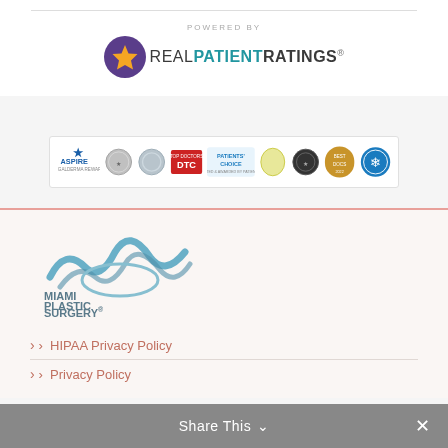[Figure (logo): Powered by Real Patient Ratings logo with purple circle and gold star]
[Figure (logo): Awards and certifications banner showing Aspire Galderma Rewards, multiple medallion badges, Patients Choice, Best Docs, and other certification logos]
[Figure (logo): Miami Plastic Surgery logo with blue wave/eye graphic and text MIAMI PLASTIC SURGERY]
HIPAA Privacy Policy
Privacy Policy
Share This